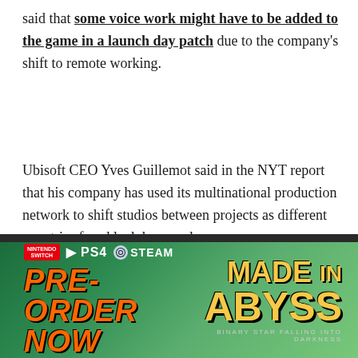said that some voice work might have to be added to the game in a launch day patch due to the company's shift to remote working.
Ubisoft CEO Yves Guillemot said in the NYT report that his company has used its multinational production network to shift studios between projects as different countries faced lockdown orders.
“We shifted some of our quality assurance and testing work from India to China while our studio in Pune was transitioning to working from home,” he explained.
[Figure (illustration): Advertisement banner for 'Made in Abyss' game showing Nintendo Switch, PS4, and Steam platform logos, PRE-ORDER NOW text in orange, and MADE IN ABYSS title text in yellow on a green background]